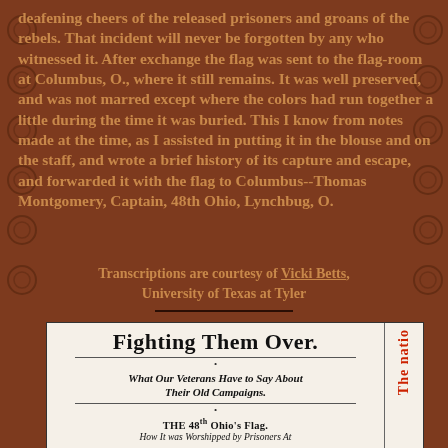deafening cheers of the released prisoners and groans of the rebels. That incident will never be forgotten by any who witnessed it. After exchange the flag was sent to the flag-room at Columbus, O., where it still remains. It was well preserved, and was not marred except where the colors had run together a little during the time it was buried. This I know from notes made at the time, as I assisted in putting it in the blouse and on the staff, and wrote a brief history of its capture and escape, and forwarded it with the flag to Columbus--Thomas Montgomery, Captain, 48th Ohio, Lynchbug, O.
Transcriptions are courtesy of Vicki Betts, University of Texas at Tyler
[Figure (other): Newspaper clipping with headline 'FIGHTING THEM OVER.' and subheading 'What Our Veterans Have to Say About Their Old Campaigns.' and section title 'THE 48th OHIO'S FLAG.' with partial text 'How It was Worshipped by Prisoners At'. A vertical red text strip on the right side reads 'The natio']